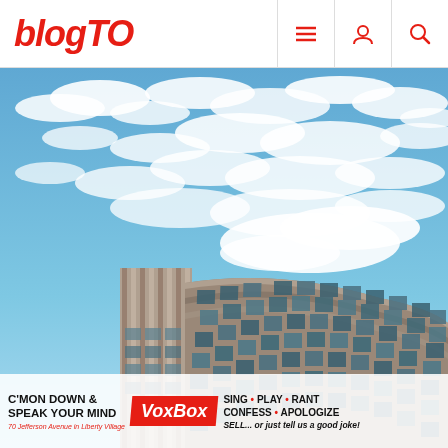blogTO
[Figure (photo): Photograph of a curved modernist building facade with concrete columns and glass windows against a blue sky with altocumulus clouds. The building curves from left to right with vertical concrete fins on the left tower and a glass curtain wall on the curved section.]
C'MON DOWN & SPEAK YOUR MIND VoxBox SING • PLAY • RANT CONFESS • APOLOGIZE SELL... or just tell us a good joke! 70 Jefferson Avenue in Liberty Village